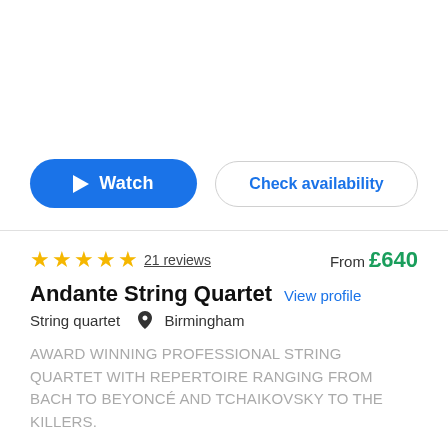[Figure (other): White blank area at top of listing card]
Watch
Check availability
★★★★★ 21 reviews   From £640
Andante String Quartet
View profile
String quartet  📍 Birmingham
AWARD WINNING PROFESSIONAL STRING QUARTET WITH REPERTOIRE RANGING FROM BACH TO BEYONCÉ AND TCHAIKOVSKY TO THE KILLERS.